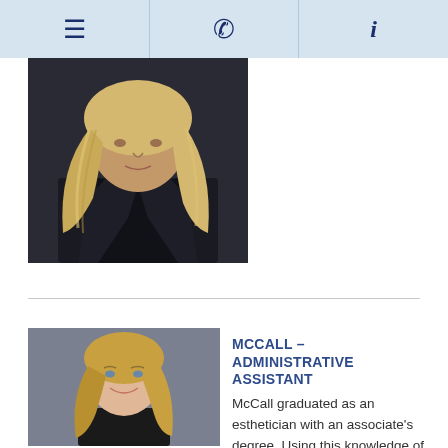≡  📞  i
[Figure (photo): Portrait photo of a person with long blonde hair wearing a dark leather jacket, cropped at upper body]
[Figure (photo): Professional headshot of a smiling young woman with long blonde hair wearing a dark top, against a grey background]
MCCALL – ADMINISTRATIVE ASSISTANT
McCall graduated as an esthetician with an associate's degree. Using this knowledge of